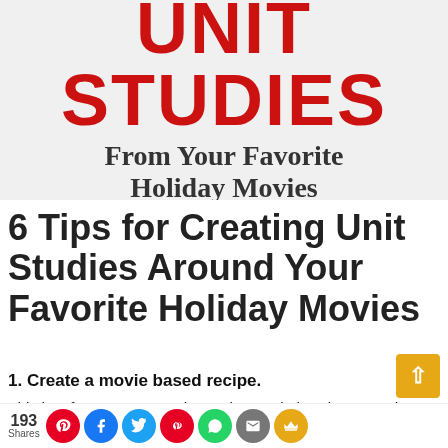[Figure (illustration): Blog post banner image with large red bold text 'UNIT STUDIES', subtitle 'From Your Favorite Holiday Movies' in dark serif font, and a red banner bar reading 'HOMESCHOOLMASTERYACADEMY.COM' in white uppercase letters on light gray background.]
6 Tips for Creating Unit Studies Around Your Favorite Holiday Movies
1. Create a movie based recipe.
This is a fun way to experience the movie hands on! Look
a re  or   d fea  ed in   e film  erha  it is a
193 Shares [social share icons: Pinterest, Facebook, Twitter, unknown, WhatsApp, Email, Crown]